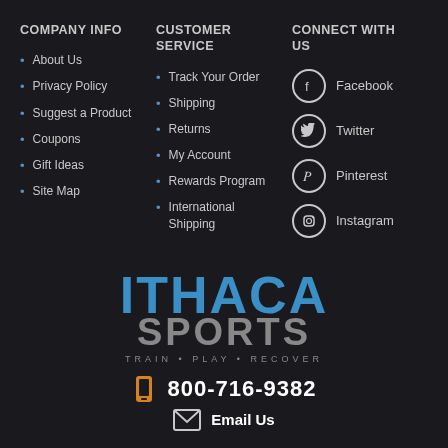COMPANY INFO
About Us
Privacy Policy
Suggest a Product
Coupons
Gift Ideas
Site Map
CUSTOMER SERVICE
Track Your Order
Shipping
Returns
My Account
Rewards Program
International Shipping
CONNECT WITH US
Facebook
Twitter
Pinterest
Instagram
[Figure (logo): Ithaca Sports logo with tagline TRAIN • PLAY • RECOVER]
800-716-9382
Email Us